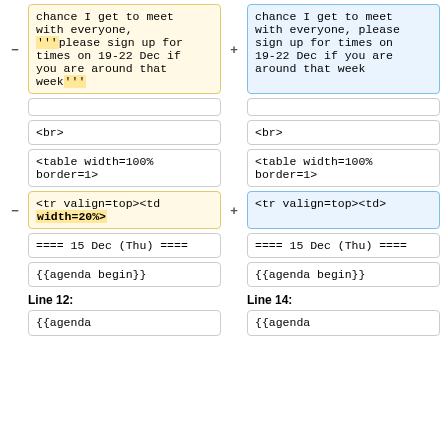| Removed | Added |
| --- | --- |
| chance I get to meet with everyone, '''please sign up for times on 19-22 Dec if you are around that week''' | chance I get to meet with everyone, please sign up for times on 19-22 Dec if you are around that week |
| (empty) | (empty) |
| <br> | <br> |
| <table width=100% border=1> | <table width=100% border=1> |
| <tr valign=top><td width=20%> | <tr valign=top><td> |
| ==== 15 Dec (Thu) ==== | ==== 15 Dec (Thu) ==== |
| {{agenda begin}} | {{agenda begin}} |
Line 12:
Line 14:
{{agenda
{{agenda